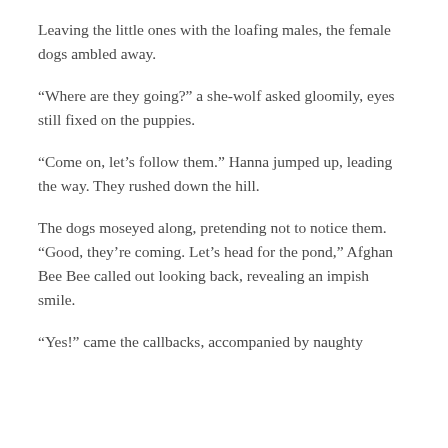Leaving the little ones with the loafing males, the female dogs ambled away.
“Where are they going?” a she-wolf asked gloomily, eyes still fixed on the puppies.
“Come on, let’s follow them.” Hanna jumped up, leading the way. They rushed down the hill.
The dogs moseyed along, pretending not to notice them. “Good, they’re coming. Let’s head for the pond,” Afghan Bee Bee called out looking back, revealing an impish smile.
“Yes!” came the callbacks, accompanied by naughty